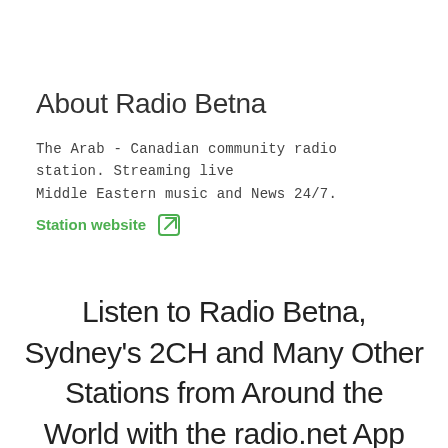About Radio Betna
The Arab - Canadian community radio station. Streaming live Middle Eastern music and News 24/7.
Station website
Listen to Radio Betna, Sydney's 2CH and Many Other Stations from Around the World with the radio.net App